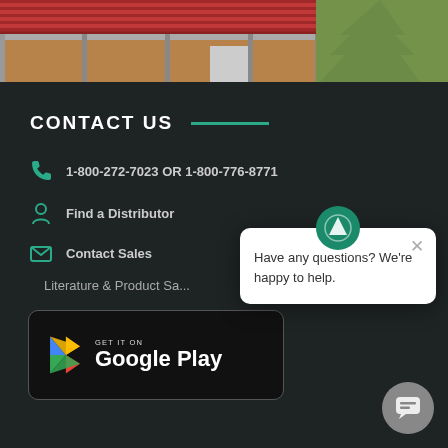[Figure (photo): Photo of a metal building/carport with a red roof and brown walls, with green trees visible on the right side]
CONTACT US
1-800-272-7023 OR 1-800-776-8771
Find a Distributor
Contact Sales
Literature & Product Sa...
[Figure (screenshot): Google Play store download button with Google Play triangle logo]
[Figure (screenshot): Chat popup widget with ASC logo avatar, close button, and message: Have any questions? We're happy to help.]
Have any questions? We're happy to help.